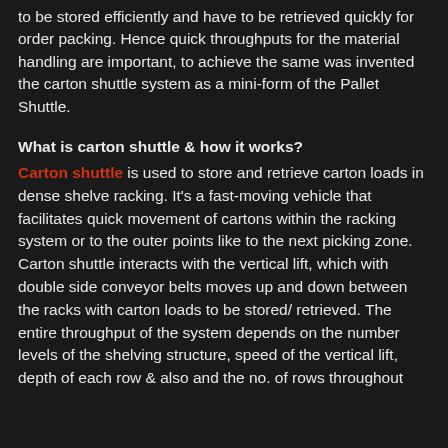to be stored efficiently and have to be retrieved quickly for order packing. Hence quick throughputs for the material handling are important, to achieve the same was invented the carton shuttle system as a mini-form of the Pallet Shuttle.
What is carton shuttle & how it works?
Carton shuttle is used to store and retrieve carton loads in dense shelve racking. It's a fast-moving vehicle that facilitates quick movement of cartons within the racking system or to the outer points like to the next picking zone. Carton shuttle interacts with the vertical lift, which with double side conveyor belts moves up and down between the racks with carton loads to be stored/ retrieved. The entire throughput of the system depends on the number levels of the shelving structure, speed of the vertical lift, depth of each row & also and the no. of rows throughout